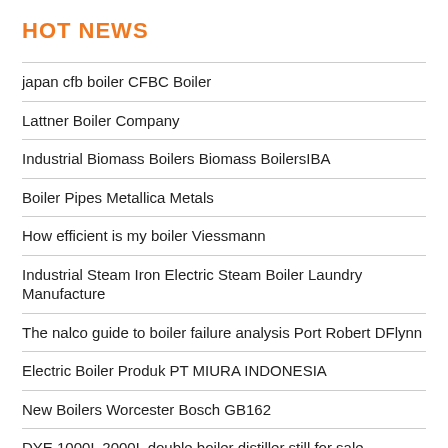HOT NEWS
japan cfb boiler CFBC Boiler
Lattner Boiler Company
Industrial Biomass Boilers Biomass BoilersIBA
Boiler Pipes Metallica Metals
How efficient is my boiler Viessmann
Industrial Steam Iron Electric Steam Boiler Laundry Manufacture
The nalco guide to boiler failure analysis Port Robert DFlynn
Electric Boiler Produk PT MIURA INDONESIA
New Boilers Worcester Bosch GB162
DYE 1000L 2000L double boiler distiller still for sale